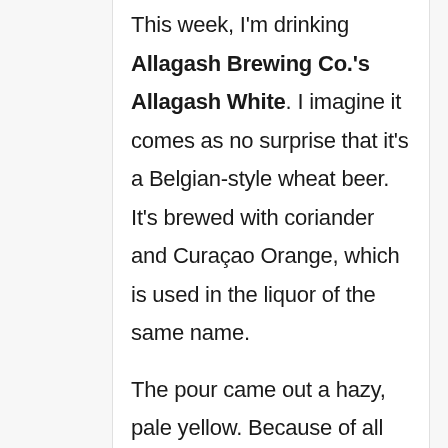This week, I'm drinking Allagash Brewing Co.'s Allagash White. I imagine it comes as no surprise that it's a Belgian-style wheat beer. It's brewed with coriander and Curaçao Orange, which is used in the liquor of the same name.

The pour came out a hazy, pale yellow. Because of all the wheat particulate, these types of brews usually look cloudy, so this was to be expected. Half a finger of white foam topped the brew, and left...